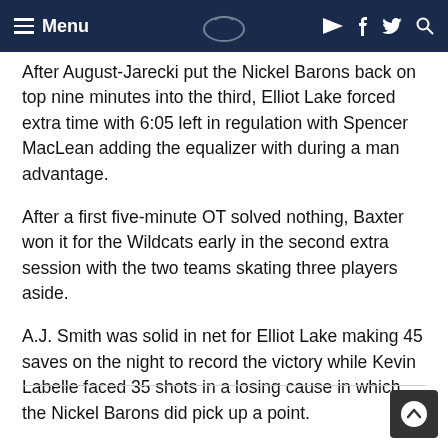Menu
After August-Jarecki put the Nickel Barons back on top nine minutes into the third, Elliot Lake forced extra time with 6:05 left in regulation with Spencer MacLean adding the equalizer with during a man advantage.
After a first five-minute OT solved nothing, Baxter won it for the Wildcats early in the second extra session with the two teams skating three players aside.
A.J. Smith was solid in net for Elliot Lake making 45 saves on the night to record the victory while Kevin Labelle faced 35 shots in a losing cause in which the Nickel Barons did pick up a point.